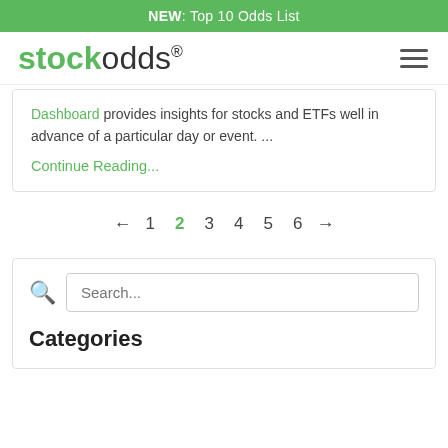NEW: Top 10 Odds List
stockodds
Dashboard provides insights for stocks and ETFs well in advance of a particular day or event. ...
Continue Reading...
← 1 2 3 4 5 6 →
Search...
Categories